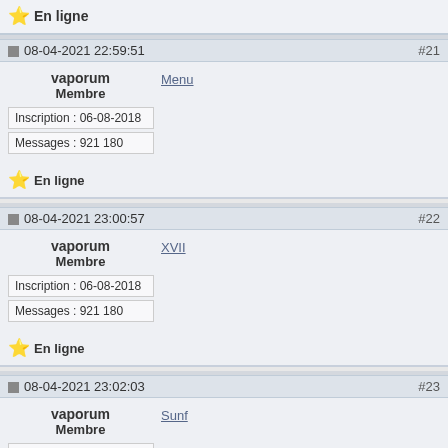⭐ En ligne
08-04-2021 22:59:51  #21
vaporum
Membre
Inscription : 06-08-2018
Messages : 921 180
Menu
⭐ En ligne
08-04-2021 23:00:57  #22
vaporum
Membre
Inscription : 06-08-2018
Messages : 921 180
XVII
⭐ En ligne
08-04-2021 23:02:03  #23
vaporum
Membre
Inscription : 06-08-2018